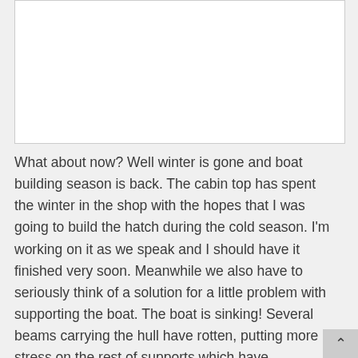[Figure (photo): White/blank image area at the top of the page]
What about now? Well winter is gone and boat building season is back. The cabin top has spent the winter in the shop with the hopes that I was going to build the hatch during the cold season. I'm working on it as we speak and I should have it finished very soon. Meanwhile we also have to seriously think of a solution for a little problem with supporting the boat. The boat is sinking! Several beams carrying the hull have rotten, putting more stress on the rest of supports which have compressed. I was stunned this morning to find out that the bow has gone down so much the keel angle is down 6.6